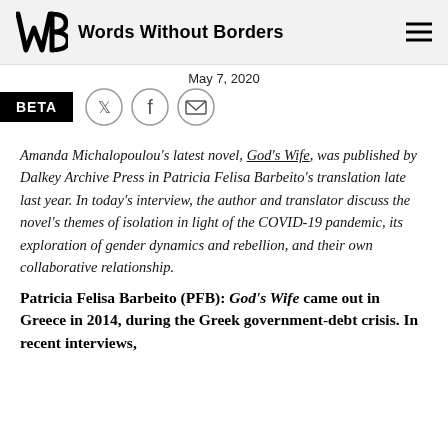Words Without Borders
May 7, 2020
BETA
Amanda Michalopoulou's latest novel, God's Wife, was published by Dalkey Archive Press in Patricia Felisa Barbeito's translation late last year. In today's interview, the author and translator discuss the novel's themes of isolation in light of the COVID-19 pandemic, its exploration of gender dynamics and rebellion, and their own collaborative relationship.
Patricia Felisa Barbeito (PFB): God's Wife came out in Greece in 2014, during the Greek government-debt crisis. In recent interviews,